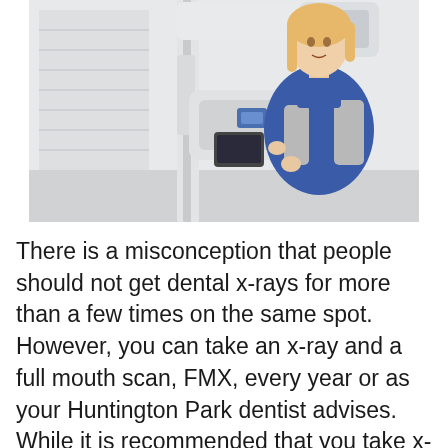[Figure (photo): A woman with blonde hair wearing a blue protective dental X-ray apron stands next to a white panoramic dental X-ray machine in a clinical room. She is facing the machine and appears to be positioning herself for a scan.]
There is a misconception that people should not get dental x-rays for more than a few times on the same spot. However, you can take an x-ray and a full mouth scan, FMX, every year or as your Huntington Park dentist advises. While it is recommended that you take x-rays every year, you can take additional x-rays